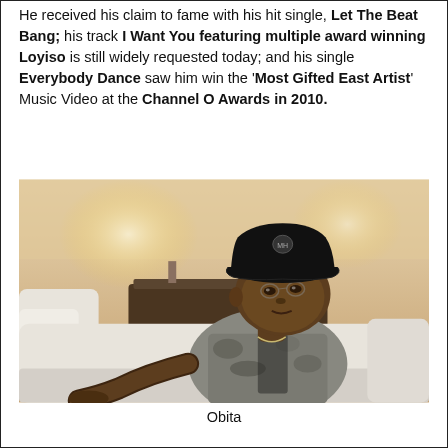He received his claim to fame with his hit single, Let The Beat Bang; his track I Want You featuring multiple award winning Loyiso is still widely requested today; and his single Everybody Dance saw him win the 'Most Gifted East Artist' Music Video at the Channel O Awards in 2010.
[Figure (photo): A young Black man wearing a black cap and patterned grey and black shirt, reclining on a white sofa in a warmly lit interior room.]
Obita